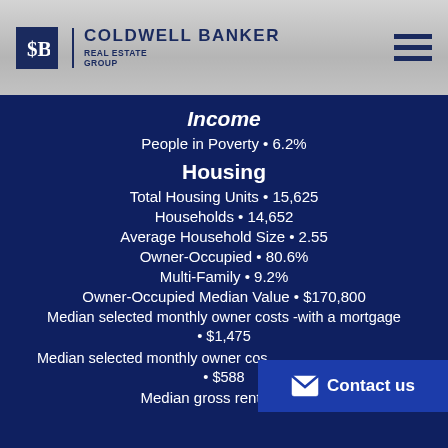Coldwell Banker Real Estate Group
Income
People in Poverty • 6.2%
Housing
Total Housing Units • 15,625
Households • 14,652
Average Household Size • 2.55
Owner-Occupied • 80.6%
Multi-Family • 9.2%
Owner-Occupied Median Value • $170,800
Median selected monthly owner costs -with a mortgage • $1,475
Median selected monthly owner costs • $588
Median gross rent • $754